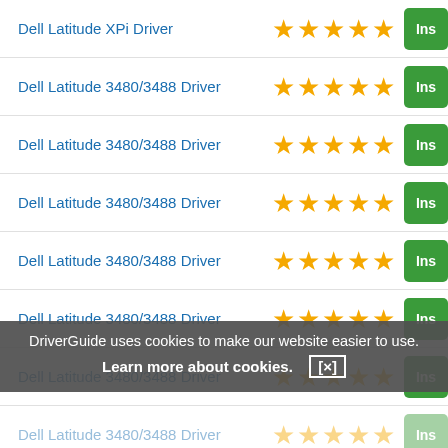Dell Latitude XPi Driver ★★★★★ Ins
Dell Latitude 3480/3488 Driver ★★★★★ Ins
Dell Latitude 3480/3488 Driver ★★★★★ Ins
Dell Latitude 3480/3488 Driver ★★★★★ Ins
Dell Latitude 3480/3488 Driver ★★★★★ Ins
Dell Latitude 3480/3488 Driver ★★★★★ Ins
Dell Latitude 3480/3488 Driver ★★★★★ Ins
Dell Latitude 3480/3488 Driver ★★★★★ Ins
Dell Latitude 3480/3488 Driver ★★★★★ Ins
DriverGuide uses cookies to make our website easier to use. Learn more about cookies. [×]